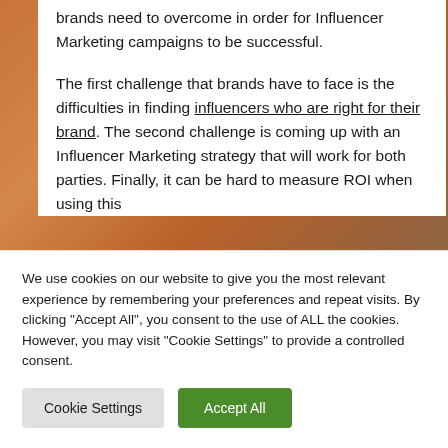brands need to overcome in order for Influencer Marketing campaigns to be successful.
The first challenge that brands have to face is the difficulties in finding influencers who are right for their brand. The second challenge is coming up with an Influencer Marketing strategy that will work for both parties. Finally, it can be hard to measure ROI when using this
We use cookies on our website to give you the most relevant experience by remembering your preferences and repeat visits. By clicking "Accept All", you consent to the use of ALL the cookies. However, you may visit "Cookie Settings" to provide a controlled consent.